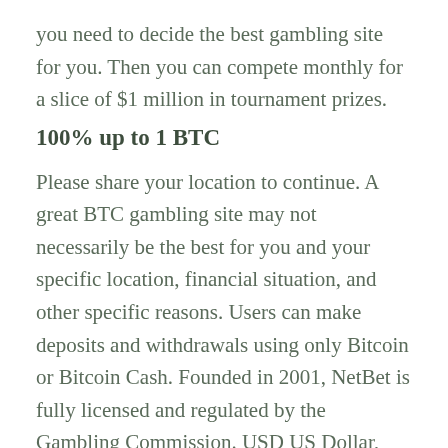you need to decide the best gambling site for you. Then you can compete monthly for a slice of $1 million in tournament prizes.
100% up to 1 BTC
Please share your location to continue. A great BTC gambling site may not necessarily be the best for you and your specific location, financial situation, and other specific reasons. Users can make deposits and withdrawals using only Bitcoin or Bitcoin Cash. Founded in 2001, NetBet is fully licensed and regulated by the Gambling Commission. USD US Dollar, EUR Euro, or BTC Bitcoin. They have a good track record of users being able to deposit and withdraw cryptocurrency easily but that is not the case with cash or bank deposits and withdrawals. Bitcoin blackjack